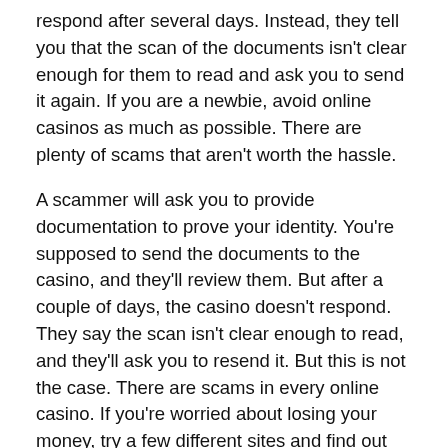respond after several days. Instead, they tell you that the scan of the documents isn't clear enough for them to read and ask you to send it again. If you are a newbie, avoid online casinos as much as possible. There are plenty of scams that aren't worth the hassle.
A scammer will ask you to provide documentation to prove your identity. You're supposed to send the documents to the casino, and they'll review them. But after a couple of days, the casino doesn't respond. They say the scan isn't clear enough to read, and they'll ask you to resend it. But this is not the case. There are scams in every online casino. If you're worried about losing your money, try a few different sites and find out the best one for you.
Another scam is the casino asking for identification documents. The casino will request these to verify your identity. But you'll have to send the documents anyway. It's not just the paperwork that will get rejected that you should send. It's also not a scam if you're not careful. Nevertheless, you should make sure to read all of the documents carefully. You'll also have a safe deposit site and ensure it